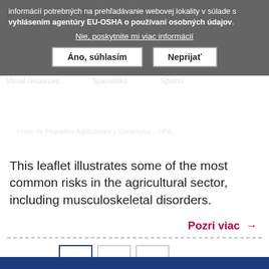informácií potrebných na prehľadávanie webovej lokality v súlade s vyhlásením agentúry EU-OSHA o používaní osobných údajov.
Nie, poskytnite mi viac informácií
Áno, súhlasím | Neprijať
This leaflet illustrates some of the most common risks in the agricultural sector, including musculoskeletal disorders.
Pozri viac →
1 2 3 ... › »